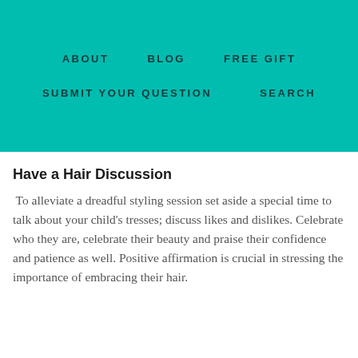ABOUT   BLOG   FREE GIFT   SUBMIT YOUR QUESTION   SEARCH
Have a Hair Discussion
To alleviate a dreadful styling session set aside a special time to talk about your child's tresses; discuss likes and dislikes. Celebrate who they are, celebrate their beauty and praise their confidence and patience as well. Positive affirmation is crucial in stressing the importance of embracing their hair.